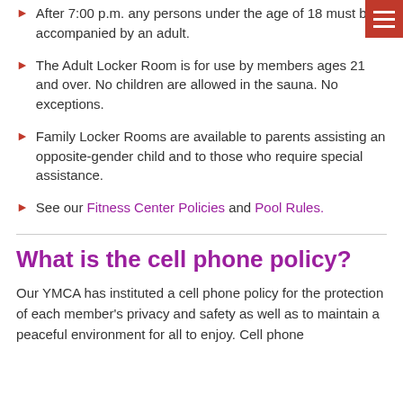After 7:00 p.m. any persons under the age of 18 must be accompanied by an adult.
The Adult Locker Room is for use by members ages 21 and over. No children are allowed in the sauna. No exceptions.
Family Locker Rooms are available to parents assisting an opposite-gender child and to those who require special assistance.
See our Fitness Center Policies and Pool Rules.
What is the cell phone policy?
Our YMCA has instituted a cell phone policy for the protection of each member's privacy and safety as well as to maintain a peaceful environment for all to enjoy. Cell phone